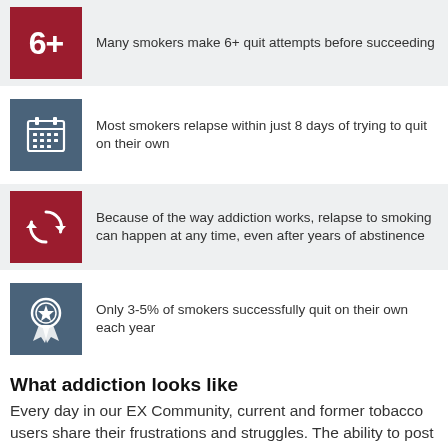Many smokers make 6+ quit attempts before succeeding
Most smokers relapse within just 8 days of trying to quit on their own
Because of the way addiction works, relapse to smoking can happen at any time, even after years of abstinence
Only 3-5% of smokers successfully quit on their own each year
What addiction looks like
Every day in our EX Community, current and former tobacco users share their frustrations and struggles. The ability to post anonymously allows our members to share how much nicotine addiction controls their lives.